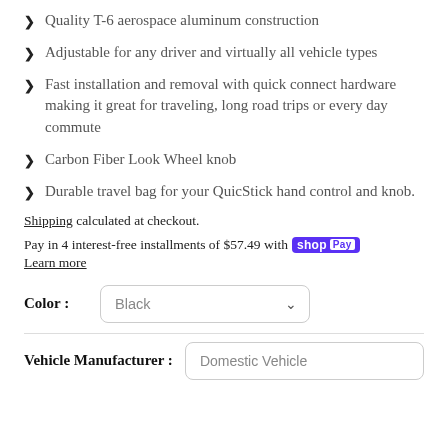Quality T-6 aerospace aluminum construction
Adjustable for any driver and virtually all vehicle types
Fast installation and removal with quick connect hardware making it great for traveling, long road trips or every day commute
Carbon Fiber Look Wheel knob
Durable travel bag for your QuicStick hand control and knob.
Shipping calculated at checkout.
Pay in 4 interest-free installments of $57.49 with shop Pay
Learn more
Color : Black
Vehicle Manufacturer : Domestic Vehicle